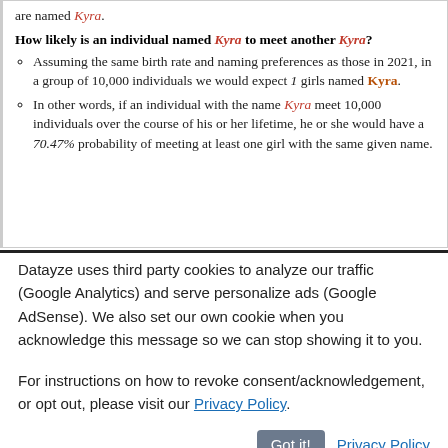are named Kyra.
How likely is an individual named Kyra to meet another Kyra?
Assuming the same birth rate and naming preferences as those in 2021, in a group of 10,000 individuals we would expect 1 girls named Kyra.
In other words, if an individual with the name Kyra meet 10,000 individuals over the course of his or her lifetime, he or she would have a 70.47% probability of meeting at least one girl with the same given name.
Datayze uses third party cookies to analyze our traffic (Google Analytics) and serve personalize ads (Google AdSense). We also set our own cookie when you acknowledge this message so we can stop showing it to you.
For instructions on how to revoke consent/acknowledgement, or opt out, please visit our Privacy Policy.